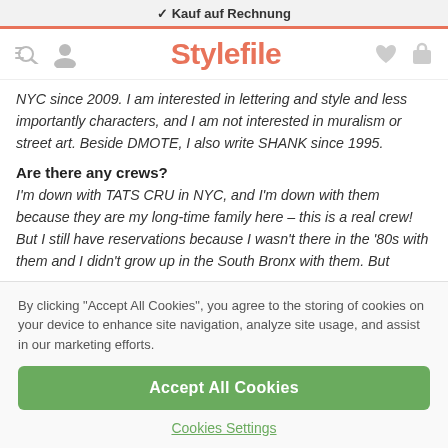✓ Kauf auf Rechnung
[Figure (screenshot): Stylefile website navigation bar with menu/search icon, user icon, Stylefile logo in coral/orange, heart icon, and cart icon]
NYC since 2009. I am interested in lettering and style and less importantly characters, and I am not interested in muralism or street art. Beside DMOTE, I also write SHANK since 1995.
Are there any crews?
I'm down with TATS CRU in NYC, and I'm down with them because they are my long-time family here – this is a real crew! But I still have reservations because I wasn't there in the '80s with them and I didn't grow up in the South Bronx with them. But
By clicking "Accept All Cookies", you agree to the storing of cookies on your device to enhance site navigation, analyze site usage, and assist in our marketing efforts.
Accept All Cookies
Cookies Settings